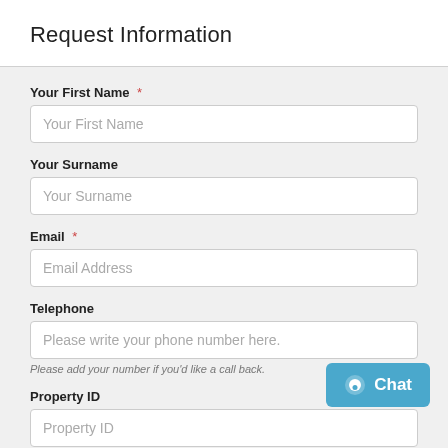Request Information
Your First Name *
Your First Name
Your Surname
Your Surname
Email *
Email Address
Telephone
Please write your phone number here.
Please add your number if you'd like a call back.
Property ID
Property ID